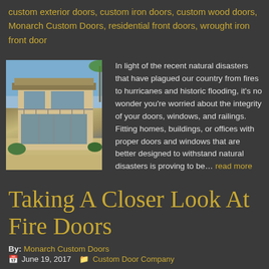custom exterior doors, custom iron doors, custom wood doors, Monarch Custom Doors, residential front doors, wrought iron front door
[Figure (photo): Exterior photo of a luxury home featuring large glass doors, tan stone facade, balcony with metal railing, and tropical landscaping]
In light of the recent natural disasters that have plagued our country from fires to hurricanes and historic flooding, it's no wonder you're worried about the integrity of your doors, windows, and railings. Fitting homes, buildings, or offices with proper doors and windows that are better designed to withstand natural disasters is proving to be… read more
Taking A Closer Look At Fire Doors
By: Monarch Custom Doors
June 19, 2017  Custom Door Company